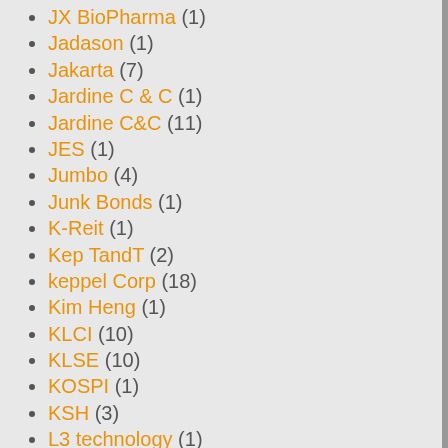JX BioPharma (1)
Jadason (1)
Jakarta (7)
Jardine C & C (1)
Jardine C&C (11)
JES (1)
Jumbo (4)
Junk Bonds (1)
K-Reit (1)
Kep TandT (2)
keppel Corp (18)
Kim Heng (1)
KLCI (10)
KLSE (10)
KOSPI (1)
KSH (3)
L3 technology (1)
liongold (10)
live trading (4)